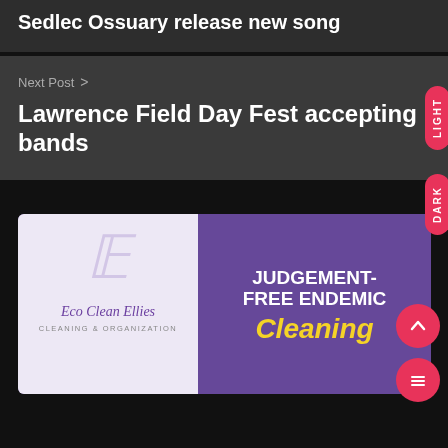Sedlec Ossuary release new song
Next Post >
Lawrence Field Day Fest accepting bands
[Figure (screenshot): Advertisement for Eco Clean Ellies Cleaning & Organization with text JUDGEMENT-FREE ENDEMIC Cleaning on purple background]
LIGHT
DARK